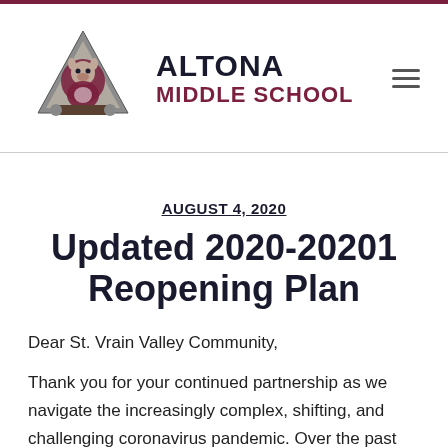ALTONA MIDDLE SCHOOL
AUGUST 4, 2020
Updated 2020-20201 Reopening Plan
Dear St. Vrain Valley Community,
Thank you for your continued partnership as we navigate the increasingly complex, shifting, and challenging coronavirus pandemic. Over the past few days, we have